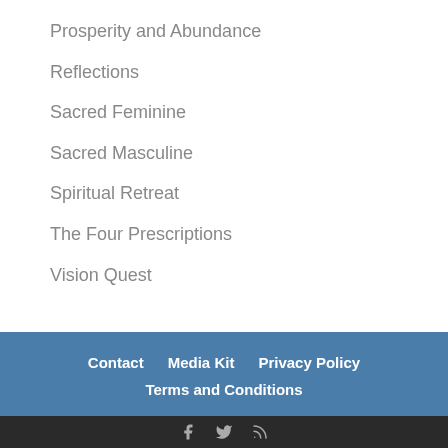Prosperity and Abundance
Reflections
Sacred Feminine
Sacred Masculine
Spiritual Retreat
The Four Prescriptions
Vision Quest
Contact   Media Kit   Privacy Policy   Terms and Conditions